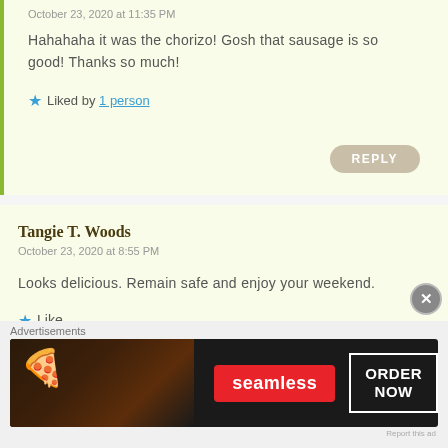October 23, 2020 at 11:35 PM
Hahahaha it was the chorizo! Gosh that sausage is so good! Thanks so much!
Liked by 1 person
REPLY
Tangie T. Woods
October 23, 2020 at 8:55 PM
Looks delicious. Remain safe and enjoy your weekend.
Like
REPLY
indianeskitchen
Advertisements
[Figure (other): Seamless food delivery advertisement banner with pizza image, Seamless red logo, and ORDER NOW button]